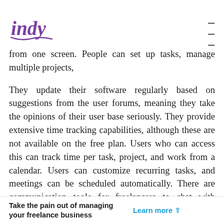indy [logo] [hamburger menu]
from one screen. People can set up tasks, manage multiple projects,
They update their software regularly based on suggestions from the user forums, meaning they take the opinions of their user base seriously. They provide extensive time tracking capabilities, although these are not available on the free plan. Users who can access this can track time per task, project, and work from a calendar. Users can customize recurring tasks, and meetings can be scheduled automatically. There are communication tools for freelancers to chat with clients in real-time and customized status updates.
Take the pain out of managing your freelance business  Learn more ^